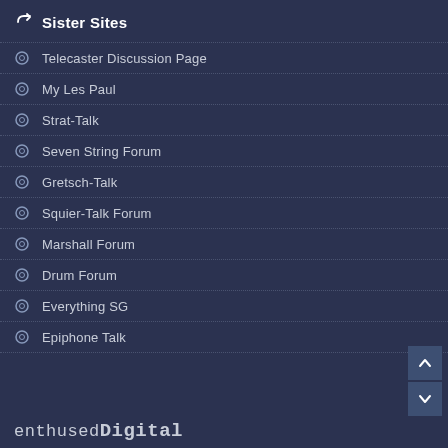Sister Sites
Telecaster Discussion Page
My Les Paul
Strat-Talk
Seven String Forum
Gretsch-Talk
Squier-Talk Forum
Marshall Forum
Drum Forum
Everything SG
Epiphone Talk
enthusedDigital